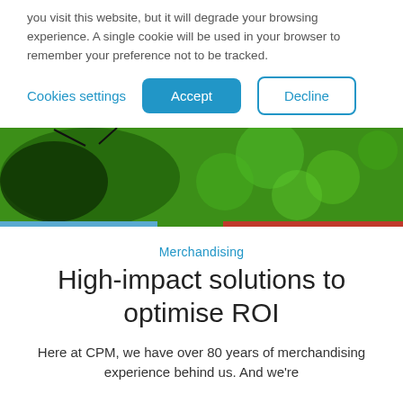you visit this website, but it will degrade your browsing experience. A single cookie will be used in your browser to remember your preference not to be tracked.
Cookies settings   Accept   Decline
[Figure (photo): Green macro photo of a bee on a honeycomb/leaf surface, with a blue bar on the lower left and a red bar on the lower right.]
Merchandising
High-impact solutions to optimise ROI
Here at CPM, we have over 80 years of merchandising experience behind us. And we're